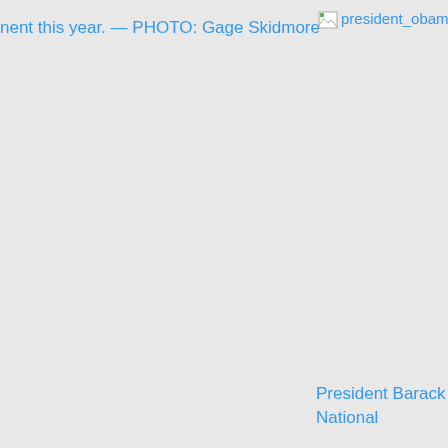nent this year. — PHOTO: Gage Skidmore
[Figure (photo): Broken image placeholder for president_obama photo]
President Barack Oba... National